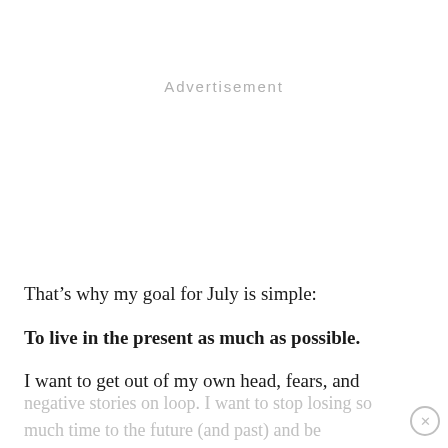Advertisement
That’s why my goal for July is simple:
To live in the present as much as possible.
I want to get out of my own head, fears, and negative stories on loop. I want to stop losing so much time to the future (and past) and be